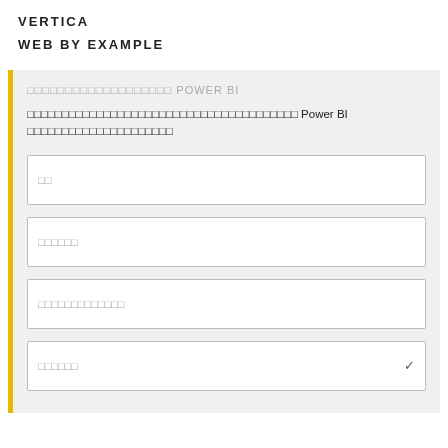VERTICA
WEB BY EXAMPLE
□□□□□□□□□□□□□□□□□□□ POWER BI
□□□□□□□□□□□□□□□□□□□□□□□□□□□□□□□□□□□□□□□ Power BI □□□□□□□□□□□□□□□□□□□□□
□□
□□□□□□
□□□□□□□□□□□□□
□□□□□□